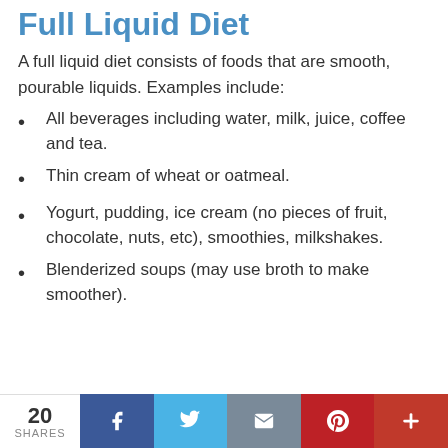Full Liquid Diet
A full liquid diet consists of foods that are smooth, pourable liquids. Examples include:
All beverages including water, milk, juice, coffee and tea.
Thin cream of wheat or oatmeal.
Yogurt, pudding, ice cream (no pieces of fruit, chocolate, nuts, etc), smoothies, milkshakes.
Blenderized soups (may use broth to make smoother).
20 SHARES | Facebook | Twitter | Email | Pinterest | Plus